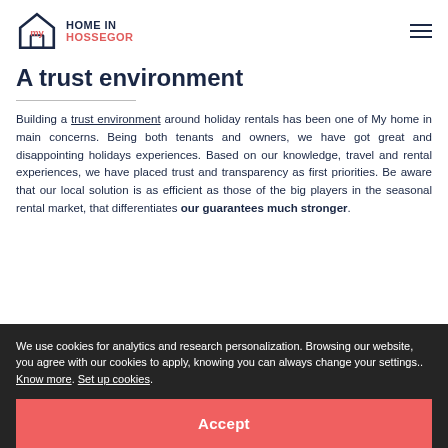MY HOME IN HOSSEGOR
A trust environment
Building a trust environment around holiday rentals has been one of My home in main concerns. Being both tenants and owners, we have got great and disappointing holidays experiences. Based on our knowledge, travel and rental experiences, we have placed trust and transparency as first priorities. Be aware that our local solution is as efficient as those of the big players in the seasonal rental market, that differentiates our guarantees much stronger.
We use cookies for analytics and research personalization. Browsing our website, you agree with our cookies to apply, knowing you can always change your settings.. Know more. Set up cookies.
Accept
every day. The loyalty of our French and foreign t...